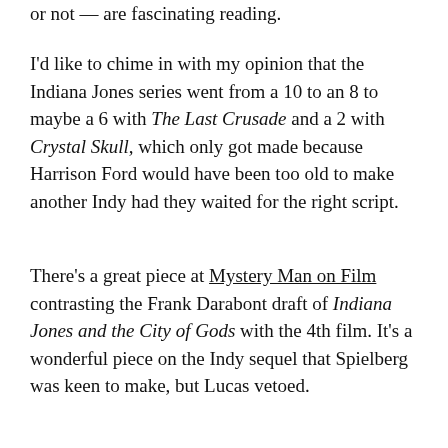or not — are fascinating reading.
I'd like to chime in with my opinion that the Indiana Jones series went from a 10 to an 8 to maybe a 6 with The Last Crusade and a 2 with Crystal Skull, which only got made because Harrison Ford would have been too old to make another Indy had they waited for the right script.
There's a great piece at Mystery Man on Film contrasting the Frank Darabont draft of Indiana Jones and the City of Gods with the 4th film. It's a wonderful piece on the Indy sequel that Spielberg was keen to make, but Lucas vetoed.